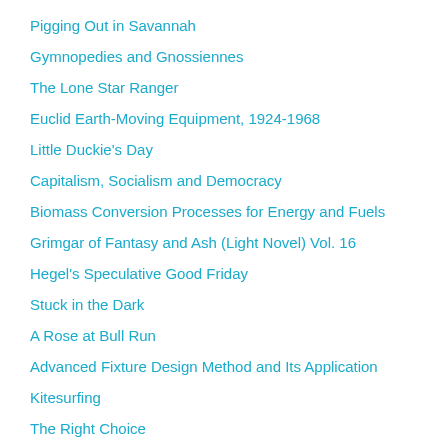Pigging Out in Savannah
Gymnopedies and Gnossiennes
The Lone Star Ranger
Euclid Earth-Moving Equipment, 1924-1968
Little Duckie's Day
Capitalism, Socialism and Democracy
Biomass Conversion Processes for Energy and Fuels
Grimgar of Fantasy and Ash (Light Novel) Vol. 16
Hegel's Speculative Good Friday
Stuck in the Dark
A Rose at Bull Run
Advanced Fixture Design Method and Its Application
Kitesurfing
The Right Choice
Fundamentals Of Piano Technique